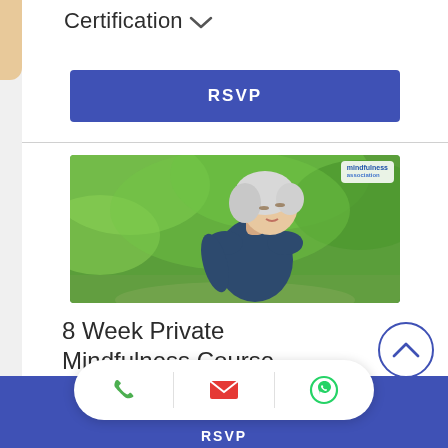Certification ∨
RSVP
[Figure (photo): Middle-aged blonde woman with eyes closed, head tilted back, standing outdoors in a green park setting. She is wearing a dark navy blue t-shirt. Small logo visible in top-right corner of image.]
8 Week Private Mindfulness Course (MBWE) – Online ∨
RSVP